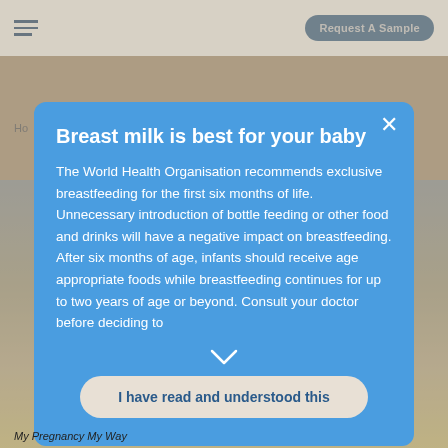Request A Sample
Ho
Breast milk is best for your baby
The World Health Organisation recommends exclusive breastfeeding for the first six months of life. Unnecessary introduction of bottle feeding or other food and drinks will have a negative impact on breastfeeding. After six months of age, infants should receive age appropriate foods while breastfeeding continues for up to two years of age or beyond. Consult your doctor before deciding to
I have read and understood this
My Pregnancy My Way